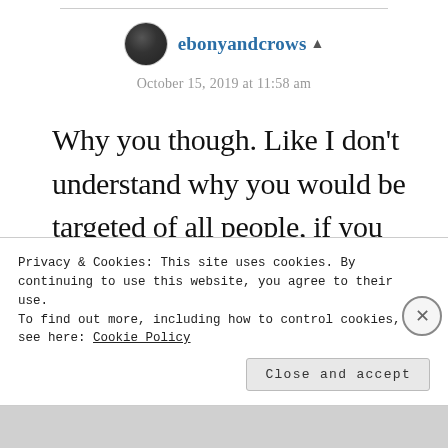ebonyandcrows ▲
October 15, 2019 at 11:58 am
Why you though. Like I don't understand why you would be targeted of all people, if you didn't even
Privacy & Cookies: This site uses cookies. By continuing to use this website, you agree to their use.
To find out more, including how to control cookies, see here: Cookie Policy
Close and accept